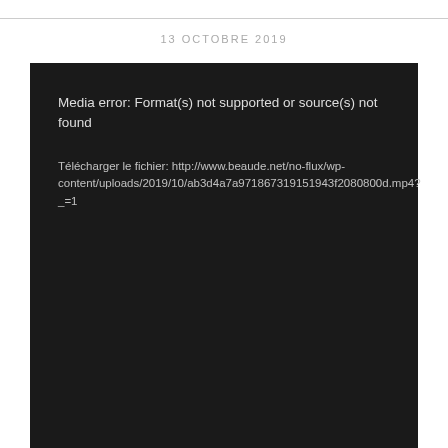13 OCTOBRE 2019
[Figure (screenshot): Dark media player error screen showing: 'Media error: Format(s) not supported or source(s) not found' and 'Télécharger le fichier: http://www.beaude.net/no-flux/wp-content/uploads/2019/10/ab3d4a7a971867319151943f2080800d.mp4?_=1']